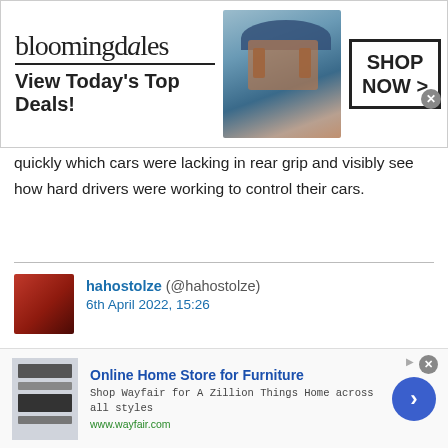[Figure (screenshot): Bloomingdales advertisement banner with logo, model in blue hat, and SHOP NOW button]
quickly which cars were lacking in rear grip and visibly see how hard drivers were working to control their cars.
hahostolze (@hahostolze) 6th April 2022, 15:26
Oh jolly, this is another Jeddah/Baku/Vegas now
frood19 (@frood19) 6th April 2022, 21:12
[Figure (screenshot): Wayfair Online Home Store for Furniture advertisement]